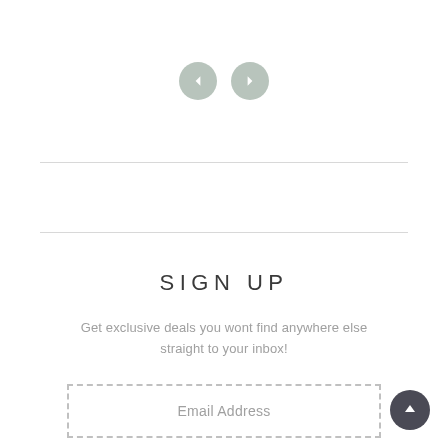[Figure (illustration): Two circular navigation arrow buttons (left and right) with a light gray/sage color background]
Get exclusive deals you wont find anywhere else straight to your inbox!
SIGN UP
[Figure (illustration): Dashed border email address input field with placeholder text 'Email Address']
[Figure (illustration): Dark circular scroll-to-top button with upward arrow icon in bottom right corner]